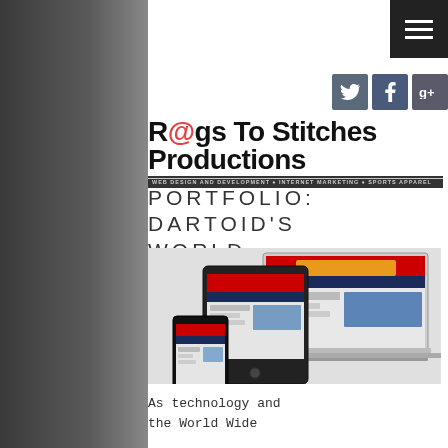[Figure (logo): Rags To Stitches Productions logo with text 'WEB DESIGN AND DEVELOPMENT • INTERNET MARKETING • SPORTS APPAREL']
PORTFOLIO: DARTOID'S WORLD
[Figure (screenshot): Screenshot of Dartoid's World website shown on multiple devices: laptop, tablet, and smartphone]
As technology and the World Wide